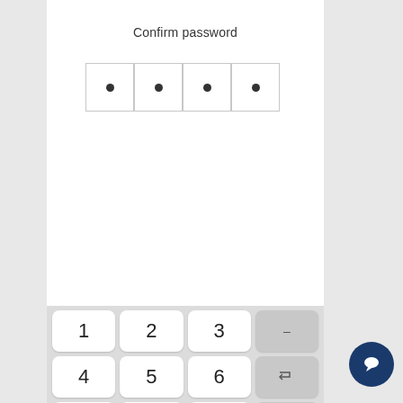Confirm password
[Figure (screenshot): PIN entry screen showing 4 filled dot boxes representing entered password characters]
[Figure (screenshot): Numeric keypad with keys 1-9, 0, dash, tab/space, backspace, and enter (teal). Also shows a dark blue chat bubble button in the bottom right.]